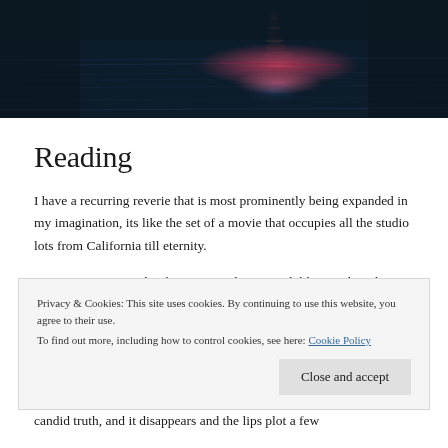[Figure (photo): Dark moody header image showing stacked stones/rocks on a dark water surface with dramatic lighting, pinkish-red glows near the stones]
Reading
I have a recurring reverie that is most prominently being expanded in my imagination, its like the set of a movie that occupies all the studio lots from California till eternity.
I meet passion, its a lip that is painted a greenish blue, it's breath smells like lavenders and Robitussin, and it speaks in
Privacy & Cookies: This site uses cookies. By continuing to use this website, you agree to their use.
To find out more, including how to control cookies, see here: Cookie Policy
candid truth, and it disappears and the lips plot a few